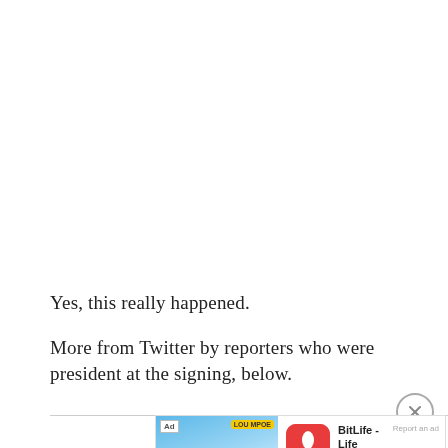Yes, this really happened.
More from Twitter by reporters who were president at the signing, below.
[Figure (screenshot): Advertisement banner for BitLife - Life Simulator app, showing a cartoon character with heart eyes, an app icon (red circle with white sperm icon and BITLIFE text), app name 'BitLife - Life Simulator', 'Report an ad' link, and an 'Install!' button at the bottom. Ad label and LOU MPOE badge visible in top corners of the image area.]